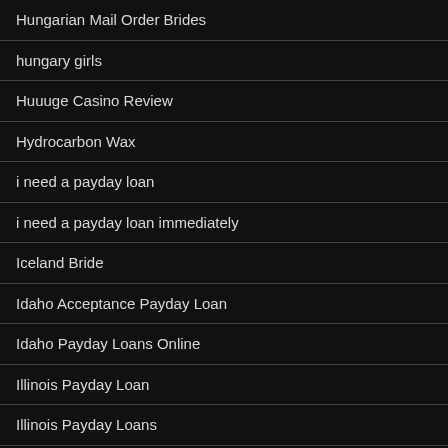Hungarian Mail Order Brides
hungary girls
Huuuge Casino Review
Hydrocarbon Wax
i need a payday loan
i need a payday loan immediately
Iceland Bride
Idaho Acceptance Payday Loan
Idaho Payday Loans Online
Illinois Payday Loan
Illinois Payday Loans
ilove sign in
imeetzu erfahrung